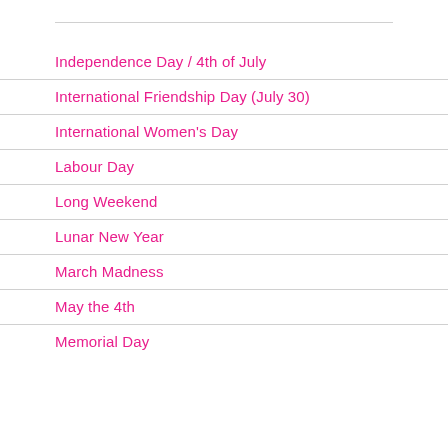Independence Day / 4th of July
International Friendship Day (July 30)
International Women's Day
Labour Day
Long Weekend
Lunar New Year
March Madness
May the 4th
Memorial Day